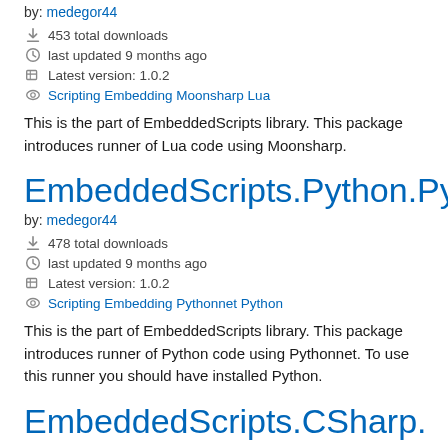by: medegor44
453 total downloads
last updated 9 months ago
Latest version: 1.0.2
Scripting Embedding Moonsharp Lua
This is the part of EmbeddedScripts library. This package introduces runner of Lua code using Moonsharp.
EmbeddedScripts.Python.PythonNet
by: medegor44
478 total downloads
last updated 9 months ago
Latest version: 1.0.2
Scripting Embedding Pythonnet Python
This is the part of EmbeddedScripts library. This package introduces runner of Python code using Pythonnet. To use this runner you should have installed Python.
EmbeddedScripts.CSharp.